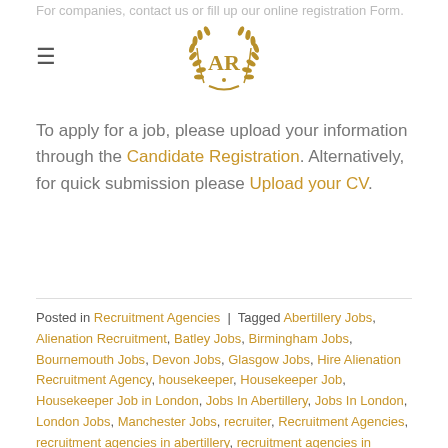For companies, contact us or fill up our online registration Form.
[Figure (logo): AR logo with laurel wreath in gold]
To apply for a job, please upload your information through the Candidate Registration. Alternatively, for quick submission please Upload your CV.
Posted in Recruitment Agencies | Tagged Abertillery Jobs, Alienation Recruitment, Batley Jobs, Birmingham Jobs, Bournemouth Jobs, Devon Jobs, Glasgow Jobs, Hire Alienation Recruitment Agency, housekeeper, Housekeeper Job, Housekeeper Job in London, Jobs In Abertillery, Jobs In London, London Jobs, Manchester Jobs, recruiter, Recruitment Agencies, recruitment agencies in abertillery, recruitment agencies in london, recruitment agency, recruitment agency in abertillery, recruitment agency in london, Recruitment Agency Manchester, Student jobs near me, temp agency in abertillery, temp agency in london, temping agency, temping agency in abertillery, temping agency in birmingham, temping agency in blaina, temping agency in cardiff, temping agency in